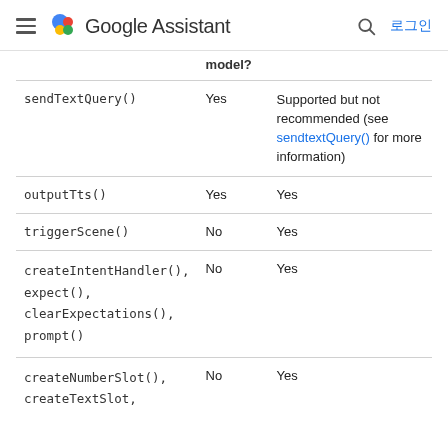Google Assistant — 로그인
|  | model? |  |
| --- | --- | --- |
| sendTextQuery() | Yes | Supported but not recommended (see sendtextQuery() for more information) |
| outputTts() | Yes | Yes |
| triggerScene() | No | Yes |
| createIntentHandler(), expect(), clearExpectations(), prompt() | No | Yes |
| createNumberSlot(), createTextSlot, | No | Yes |